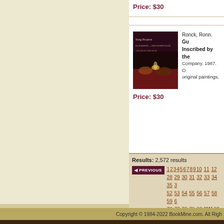Price: $30
Ronck, Ronn. Gu... Inscribed by the... Company. 1987. original paintings,
[Figure (photo): Book cover showing people in a dark scene with candlelight]
Price: $30
Results: 2,572 results
◄ PREVIOUS 1 2 3 4 5 6 7 8 9 10 11 12 28 29 30 31 32 33 34 35 3 52 53 54 55 56 57 58 59 6 76 77 78 79 80 [81] 82 83 99 100 101 102 103
Copyright © 1984-2022 BookMine.com. All Righ...